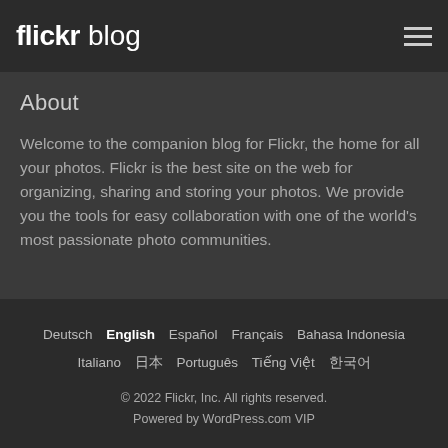flickr blog
About
Welcome to the companion blog for Flickr, the home for all your photos. Flickr is the best site on the web for organizing, sharing and storing your photos. We provide you the tools for easy collaboration with one of the world's most passionate photo communities.
Deutsch  English  Español  Français  Bahasa Indonesia  Italiano  日本語  Português  Tiếng Việt  한국어
© 2022 Flickr, Inc. All rights reserved.
Powered by WordPress.com VIP